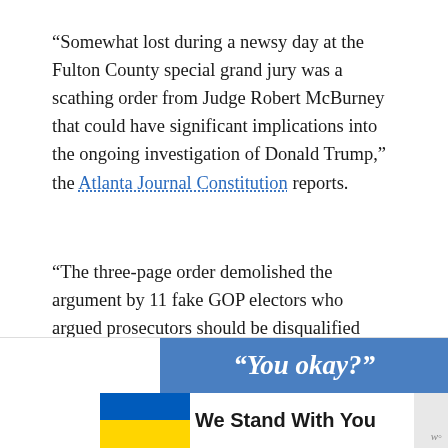“Somewhat lost during a newsy day at the Fulton County special grand jury was a scathing order from Judge Robert McBurney that could have significant implications into the ongoing investigation of Donald Trump,” the Atlanta Journal Constitution reports.
“The three-page order demolished the argument by 11 fake GOP electors who argued prosecutors should be disqualified from seeking criminal charges against them.”
Filed Under: Crime and Punishment
[Figure (screenshot): Advertisement banner at the bottom of the page showing a blue background with text '“You okay?”' and a separate white bar with Ukrainian flag colors and text 'We Stand With You']